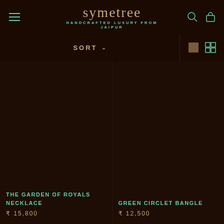symetree — HANDCRAFTED LUXURY FROM JAIPUR
SORT ∨
[Figure (screenshot): Product image area for The Garden of Royals Necklace (dark background, no image loaded)]
THE GARDEN OF ROYALS NECKLACE
₹ 15,800
[Figure (screenshot): Product image area for Green Circlet Bangle (dark background, no image loaded)]
GREEN CIRCLET BANGLE
₹ 12,500